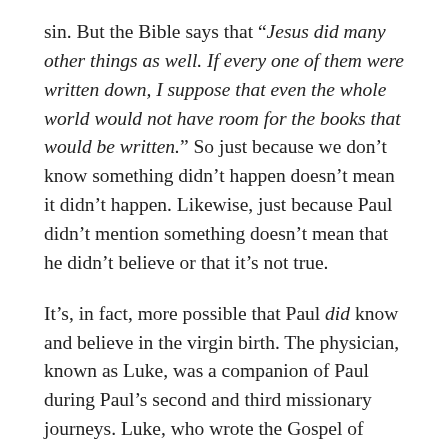sin. But the Bible says that “Jesus did many other things as well. If every one of them were written down, I suppose that even the whole world would not have room for the books that would be written.” So just because we don’t know something didn’t happen doesn’t mean it didn’t happen. Likewise, just because Paul didn’t mention something doesn’t mean that he didn’t believe or that it’s not true.
It’s, in fact, more possible that Paul did know and believe in the virgin birth. The physician, known as Luke, was a companion of Paul during Paul’s second and third missionary journeys. Luke, who wrote the Gospel of Luke and The Acts of the Apostles, speaks of being there with Paul when meeting with the Jerusalem church in Acts 21